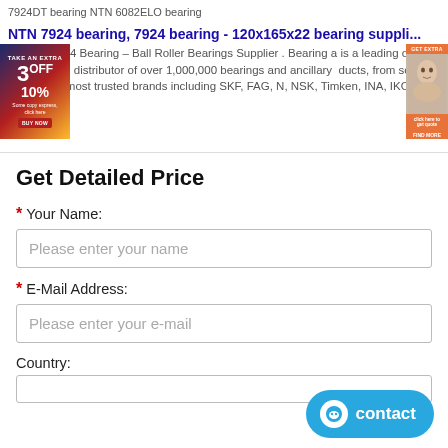7924DT bearing NTN 6082ELO bearing
NTN 7924 bearing, 7924 bearing - 120x165x22 bearing suppli...
NTN NA4924 Bearing – Ball Roller Bearings Supplier . Bearing a is a leading online supplier and distributor of over 1,000,000 bearings and ancillary ducts, from some of the world's most trusted brands including SKF, FAG, N, NSK, Timken, INA, IKO cheap ...
[Figure (screenshot): Left advertisement banner with orange/blue gradient, '3 OFF 10%' text and red button]
[Figure (screenshot): Right advertisement banner with woman's face and orange button]
Get Detailed Price
* Your Name:
Please enter your name
* E-Mail Address:
Please enter your e-mail
Country:
[Figure (screenshot): Blue contact button with chat icon in bottom right corner]